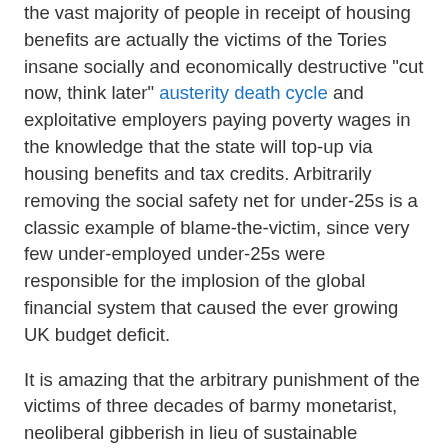the vast majority of people in receipt of housing benefit are actually the victims of the Tories insane socially and economically destructive "cut now, think later" austerity death cycle and exploitative employers paying poverty wages in the knowledge that the state will top-up via housing benefits and tax credits. Arbitrarily removing the social safety net for under-25s is a classic example of blame-the-victim, since very few under-employed under-25s were responsible for the implosion of the global financial system that caused the ever growing UK budget deficit.
It is amazing that the arbitrary punishment of the victims of three decades of barmy monetarist, neoliberal gibberish in lieu of sustainable economic policy gets so much public support, given the inaccuracy of painting all benefits claimants as "idle scroungers" at a time of extremely high unemployment. This public tendency to blame the victim is a classic example of the just-world-fallacy. It has been shown that observers of torture victims have been shown to derogate the victims, the greater the level of torture, the higher the level of abuse that the observers aim at the victim. When the observer is abusing the victim it is actually an attempt to pretend the world is naturally fair, and that